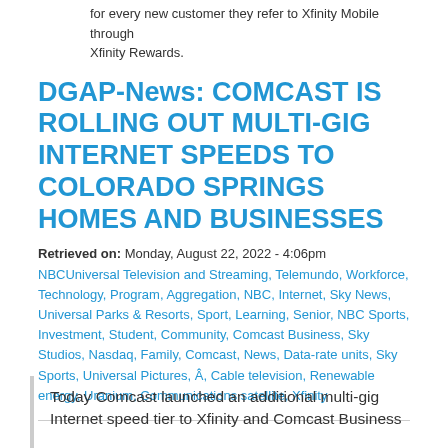for every new customer they refer to Xfinity Mobile through Xfinity Rewards.
DGAP-News: COMCAST IS ROLLING OUT MULTI-GIG INTERNET SPEEDS TO COLORADO SPRINGS HOMES AND BUSINESSES
Retrieved on: Monday, August 22, 2022 - 4:06pm
NBCUniversal Television and Streaming, Telemundo, Workforce, Technology, Program, Aggregation, NBC, Internet, Sky News, Universal Parks & Resorts, Sport, Learning, Senior, NBC Sports, Investment, Student, Community, Comcast Business, Sky Studios, Nasdaq, Family, Comcast, News, Data-rate units, Sky Sports, Universal Pictures, Â, Cable television, Renewable energy, Uranium, Communications satellite, Xfinity
Today Comcast launched an additional multi-gig Internet speed tier to Xfinity and Comcast Business